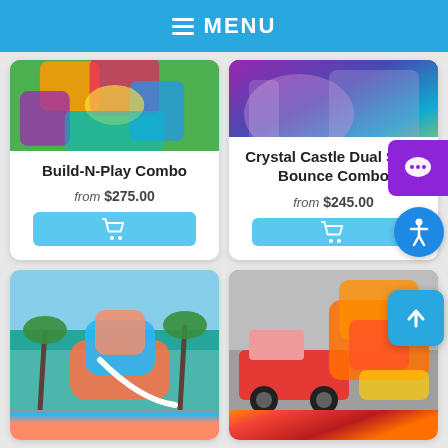MENU
Build-N-Play Combo
from $275.00
Crystal Castle Dual Slide Bounce Combo
from $245.00
[Figure (photo): Colorful inflatable bounce combo product photo]
[Figure (photo): Purple and colorful inflatable bounce combo product photo]
[Figure (photo): Inflatable water slide with beach/tropical background]
[Figure (photo): Fire truck themed inflatable bounce combo]